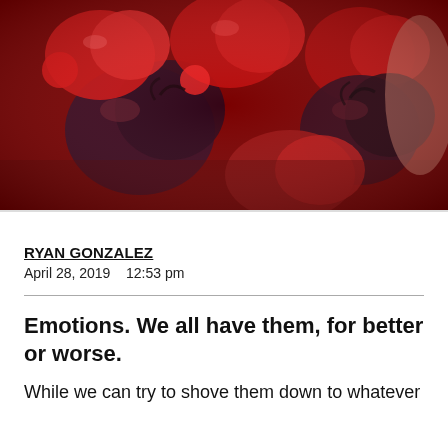[Figure (photo): Close-up photo of red and dark purple anatomical hearts, glossy and clustered together, with a vivid red and dark maroon color palette]
RYAN GONZALEZ
April 28, 2019    12:53 pm
Emotions. We all have them, for better or worse.
While we can try to shove them down to whatever